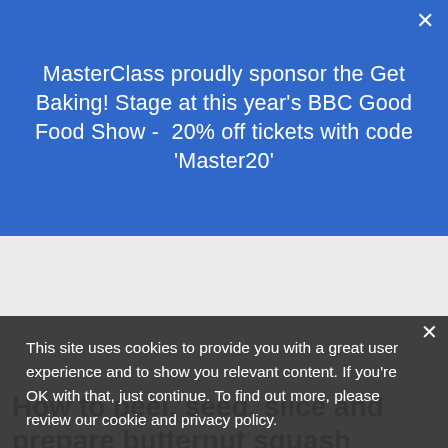MasterClass proudly sponsor the Get Baking! Stage at this year's BBC Good Food Show -  20% off tickets with code 'Master20'
This site uses cookies to provide you with a great user experience and to show you relevant content. If you're OK with that, just continue. To find out more, please review our cookie and privacy policy.
How to peel, seed, slice and prepare butternut squash